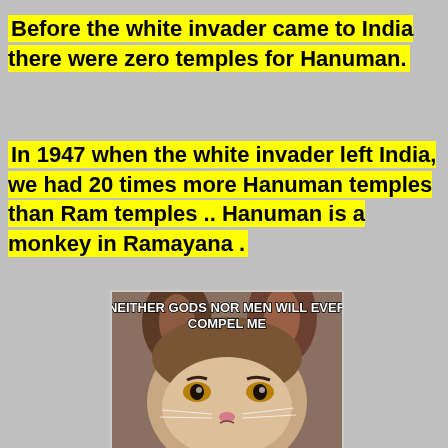Before the white invader came to India there were zero temples for Hanuman.
In 1947 when the white invader left India, we had 20 times more Hanuman temples than Ram temples .. Hanuman is a monkey in Ramayana .
[Figure (photo): Grumpy Cat meme with text 'NEITHER GODS NOR MEN WILL EVER COMPEL ME' overlaid on photo of a grumpy-looking cat]